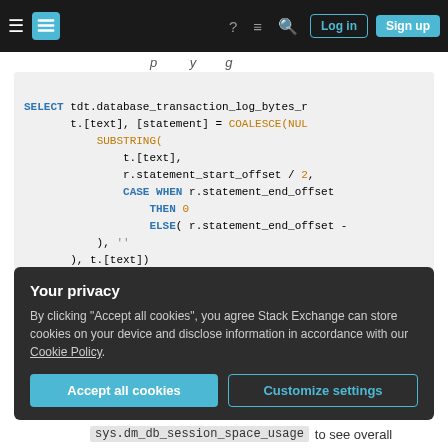Stack Exchange navigation bar with hamburger menu, logo, help, chat, search icons, Log in and Sign up buttons
(partial italic text above code block)
[Figure (screenshot): SQL code block showing a SELECT statement with keywords in blue and function names in orange, including COALESCE, SUBSTRING, CASE WHEN, THEN 0, ELSE, FROM sys.dm_tran_database_transactions, INNER JOIN sys.dm_tran_session_transac...]
Your privacy
By clicking "Accept all cookies", you agree Stack Exchange can store cookies on your device and disclose information in accordance with our Cookie Policy.
Accept all cookies  Customize settings
sys.dm_db_session_space_usage to see overall